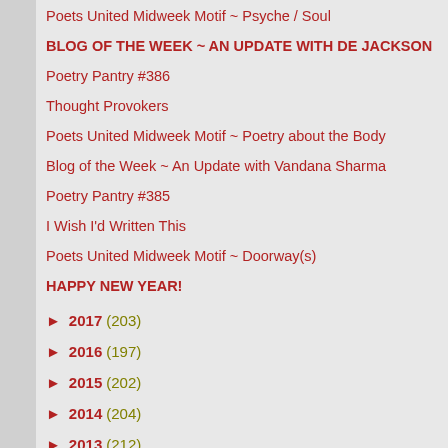Poets United Midweek Motif ~ Psyche / Soul
BLOG OF THE WEEK ~ AN UPDATE WITH DE JACKSON
Poetry Pantry #386
Thought Provokers
Poets United Midweek Motif ~ Poetry about the Body
Blog of the Week ~ An Update with Vandana Sharma
Poetry Pantry #385
I Wish I'd Written This
Poets United Midweek Motif ~ Doorway(s)
HAPPY NEW YEAR!
► 2017 (203)
► 2016 (197)
► 2015 (202)
► 2014 (204)
► 2013 (212)